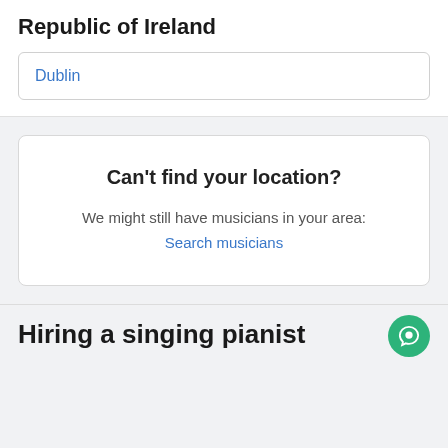Republic of Ireland
Dublin
Can't find your location?
We might still have musicians in your area: Search musicians
Hiring a singing pianist